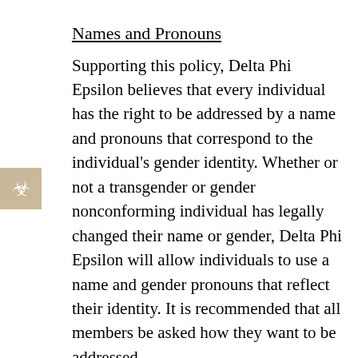Names and Pronouns
Supporting this policy, Delta Phi Epsilon believes that every individual has the right to be addressed by a name and pronouns that correspond to the individual's gender identity. Whether or not a transgender or gender nonconforming individual has legally changed their name or gender, Delta Phi Epsilon will allow individuals to use a name and gender pronouns that reflect their identity. It is recommended that all members be asked how they want to be addressed.